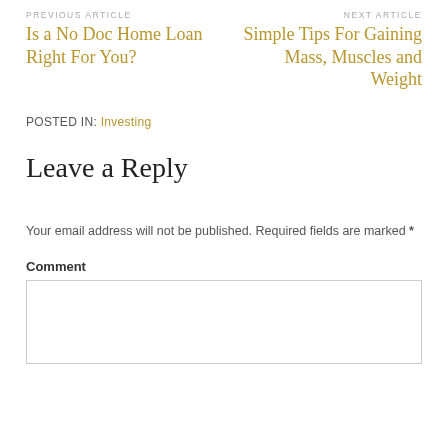PREVIOUS ARTICLE
Is a No Doc Home Loan Right For You?
NEXT ARTICLE
Simple Tips For Gaining Mass, Muscles and Weight
POSTED IN: Investing
Leave a Reply
Your email address will not be published. Required fields are marked *
Comment